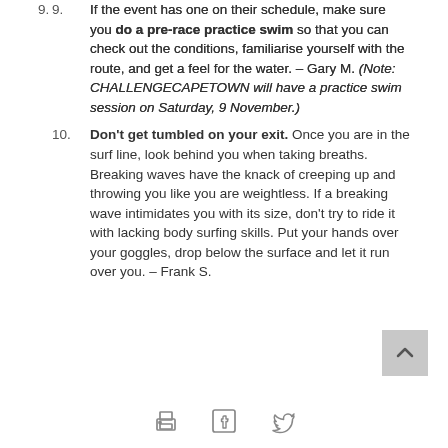9. If the event has one on their schedule, make sure you do a pre-race practice swim so that you can check out the conditions, familiarise yourself with the route, and get a feel for the water. – Gary M. (Note: CHALLENGECAPETOWN will have a practice swim session on Saturday, 9 November.)
10. Don't get tumbled on your exit. Once you are in the surf line, look behind you when taking breaths. Breaking waves have the knack of creeping up and throwing you like you are weightless. If a breaking wave intimidates you with its size, don't try to ride it with lacking body surfing skills. Put your hands over your goggles, drop below the surface and let it run over you. – Frank S.
[Figure (other): Scroll-to-top button (grey square with upward chevron arrow)]
[Figure (other): Social sharing icons: printer icon, Facebook icon, Twitter bird icon]